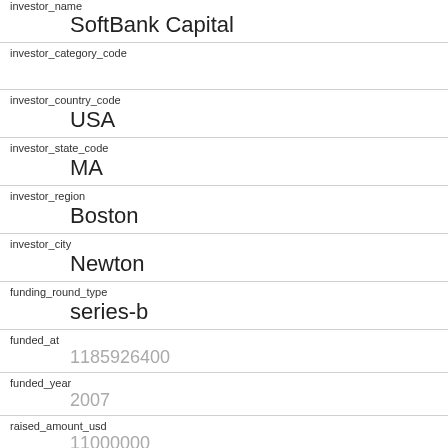investor_name
SoftBank Capital
investor_category_code
investor_country_code
USA
investor_state_code
MA
investor_region
Boston
investor_city
Newton
funding_round_type
series-b
funded_at
1185926400
funded_year
2007
raised_amount_usd
11000000
gristHelper_Display2